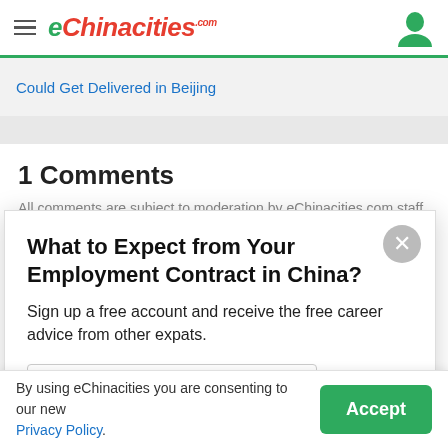eChinacities.com
Could Get Delivered in Beijing
1 Comments
All comments are subject to moderation by eChinacities.com staff. Because
What to Expect from Your Employment Contract in China?
Sign up a free account and receive the free career advice from other expats.
Sign up with Google
By using eChinacities you are consenting to our new Privacy Policy.